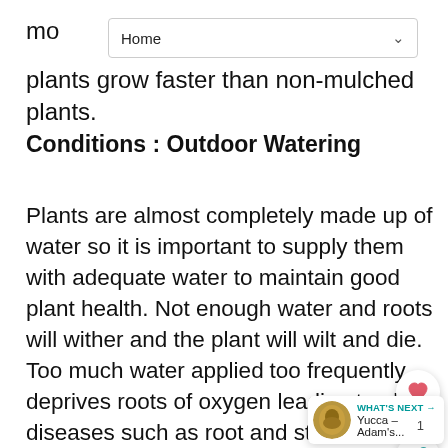Home
mo... ed plants grow faster than non-mulched plants.
Conditions : Outdoor Watering
Plants are almost completely made up of water so it is important to supply them with adequate water to maintain good plant health. Not enough water and roots will wither and the plant will wilt and die. Too much water applied too frequently deprives roots of oxygen leading to plant diseases such as root and stem rots. The type of plant, plant age, light level, soil type and container size all will impact how a plant needs to be watered. Follow these tips to ensure successful watering: